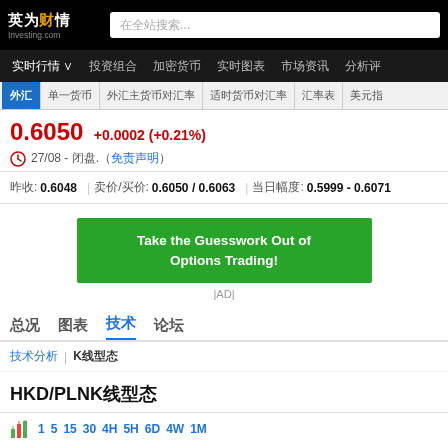英为财情 Investing.com
在全站搜索...
实时行情  投资组合  加密货币  实时图表  市场资讯  分析评
外汇  单一货币  外汇主货币对汇率  适时货币对汇率  汇率表  美元指
0.6050 (+0.0002) (+0.21%)
27/08 - 闭盘.（免责声明）
昨收: 0.6048  卖价/买价: 0.6050 / 0.6063  当日幅度: 0.5999 - 0.6071
[Figure (other): Green advertisement banner: Take the Guesswork Out of Options Trading!]
|AD|
总况  图表  技术  论坛
技术分析  K线型态
HKD/PLNK线型态
[Figure (other): Chart toolbar with bar chart icon and time period buttons: 1, 5, 15, 30, 4H, 5H, 6D, 4W, 1M]